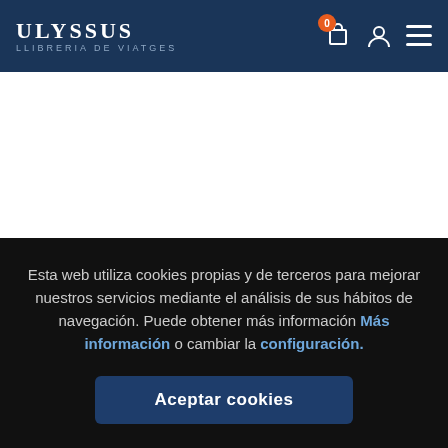ULYSSUS LLIBRERIA DE VIATGES
Título, Autor o ISBN
Esta web utiliza cookies propias y de terceros para mejorar nuestros servicios mediante el análisis de sus hábitos de navegación. Puede obtener más información Más información o cambiar la configuración.
Aceptar cookies